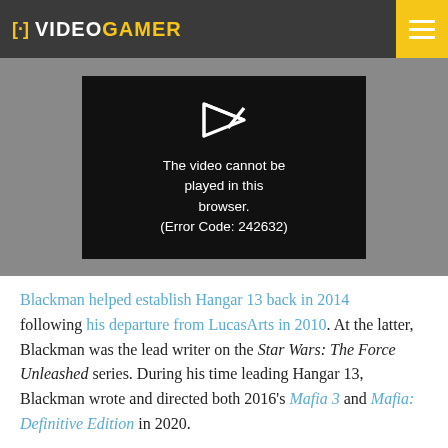[•] VIDEOGAMER
[Figure (screenshot): Video player showing error message: 'The video cannot be played in this browser. (Error Code: 242632)']
Blackman helped establish Hangar 13 back in 2014 following his departure from LucasArts in 2010. At the latter, Blackman was the lead writer on the Star Wars: The Force Unleashed series. During his time leading Hangar 13, Blackman wrote and directed both 2016's Mafia 3 and Mafia: Definitive Edition in 2020.